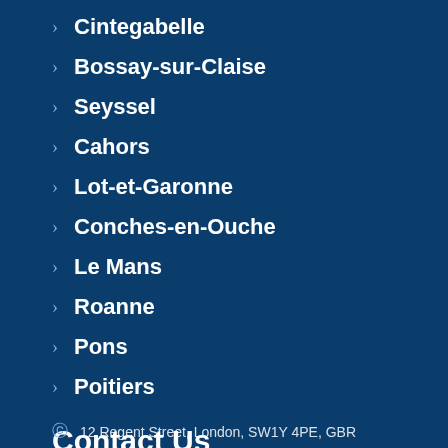Cintegabelle
Bossay-sur-Claise
Seyssel
Cahors
Lot-et-Garonne
Conches-en-Ouche
Le Mans
Roanne
Pons
Poitiers
Contact Us
12 Regent Street, London, SW1Y 4PE, GBR